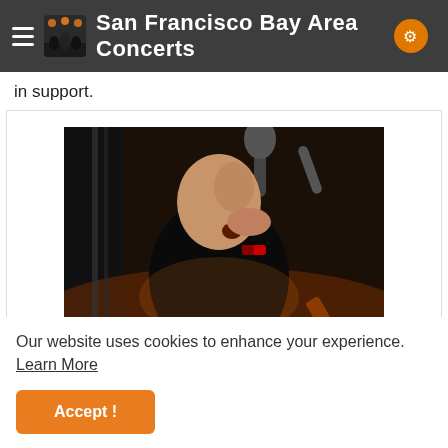San Francisco Bay Area Concerts
in support.
[Figure (photo): A bald male vocalist singing into a microphone on a dark stage, wearing a black t-shirt and a red wristband, performing live at a concert.]
Our website uses cookies to enhance your experience. Learn More
Accept!